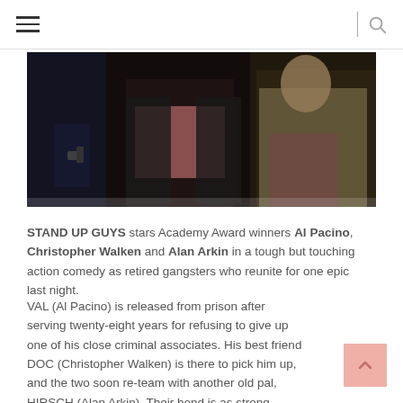≡ | 🔍
[Figure (photo): A dark movie still showing three figures — one holding a gun on the left, a woman in a pink top in the center, and an older man in a beige jacket on the right]
STAND UP GUYS stars Academy Award winners Al Pacino, Christopher Walken and Alan Arkin in a tough but touching action comedy as retired gangsters who reunite for one epic last night.
VAL (Al Pacino) is released from prison after serving twenty-eight years for refusing to give up one of his close criminal associates. His best friend DOC (Christopher Walken) is there to pick him up, and the two soon re-team with another old pal, HIRSCH (Alan Arkin). Their bond is as strong